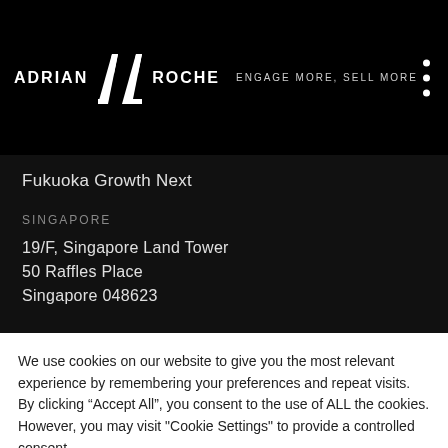ADRIAN ROCHE  ENGAGE MORE, SELL MORE
Fukuoka Growth Next
SINGAPORE
19/F, Singapore Land Tower
50 Raffles Place
Singapore 048623
We use cookies on our website to give you the most relevant experience by remembering your preferences and repeat visits. By clicking “Accept All”, you consent to the use of ALL the cookies. However, you may visit "Cookie Settings" to provide a controlled consent.